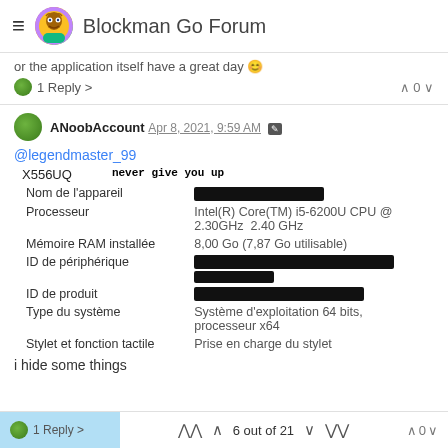Blockman Go Forum
or the application itself have a great day 😊
1 Reply >   ^ 0 v
ANoobAccount  Apr 8, 2021, 9:59 AM ✏
@legendmaster_99
|  |  |
| --- | --- |
| X556UQ | never give you up |
| Nom de l'appareil | [REDACTED] |
| Processeur | Intel(R) Core(TM) i5-6200U CPU @ 2.30GHz  2.40 GHz |
| Mémoire RAM installée | 8,00 Go (7,87 Go utilisable) |
| ID de périphérique | [REDACTED] |
| ID de produit | [REDACTED] |
| Type du système | Système d'exploitation 64 bits, processeur x64 |
| Stylet et fonction tactile | Prise en charge du stylet |
i hide some things
1 Reply >   ∧∧  6 out of 21  vv   ^ 0 v